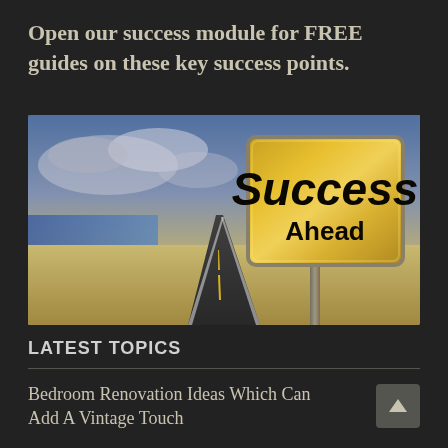Open our success module for FREE guides on these key success points.
[Figure (photo): A road stretching into the distance through a desert landscape next to water, with a yellow road sign reading 'Success Ahead' on the right side, under a dramatic cloudy sky.]
LATEST TOPICS
Bedroom Renovation Ideas Which Can Add A Vintage Touch